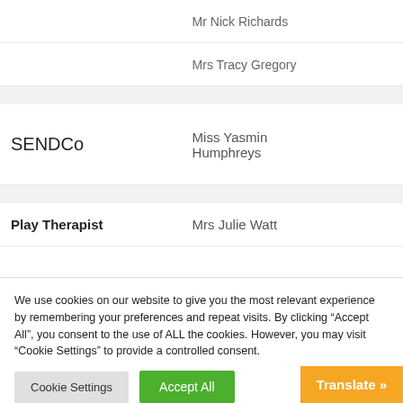| Role | Name |
| --- | --- |
|  | Mr Nick Richards |
|  | Mrs Tracy Gregory |
| SENDCo | Miss Yasmin Humphreys |
| Play Therapist | Mrs Julie Watt |
We use cookies on our website to give you the most relevant experience by remembering your preferences and repeat visits. By clicking “Accept All”, you consent to the use of ALL the cookies. However, you may visit “Cookie Settings” to provide a controlled consent.